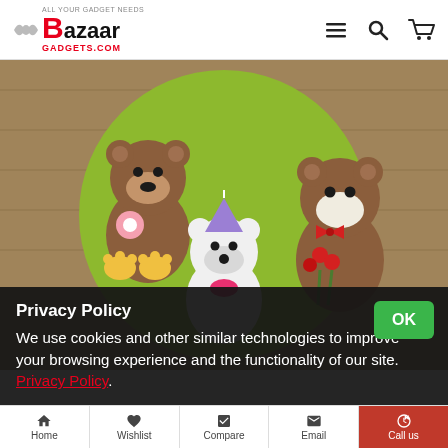Bazaar Gadgets — All Your Gadget Needs — BazaarGadgets.com
[Figure (photo): Green silicone baking mold with three teddy bear shapes: one brown bear holding a pink flower and yellow paw prints, one white polar bear with purple party hat and pink bow, and one brown bear holding red roses, placed on a wooden surface.]
Privacy Policy
We use cookies and other similar technologies to improve your browsing experience and the functionality of our site. Privacy Policy.
Home  Wishlist  Compare  Email  Call us